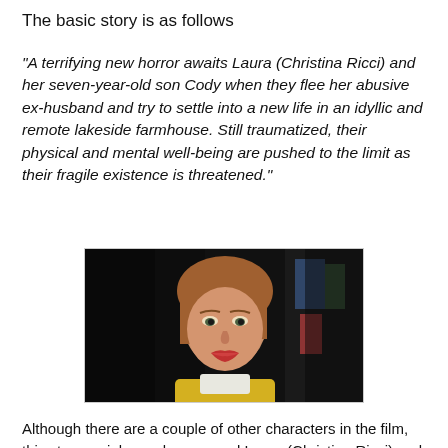The basic story is as follows
"A terrifying new horror awaits Laura (Christina Ricci) and her seven-year-old son Cody when they flee her abusive ex-husband and try to settle into a new life in an idyllic and remote lakeside farmhouse. Still traumatized, their physical and mental well-being are pushed to the limit as their fragile existence is threatened."
[Figure (photo): A woman (Christina Ricci) looking toward the camera in a dark scene, with reddish-brown hair and wearing a yellow top.]
Although there are a couple of other characters in the film, this story mainly revolves around Laura (Christina Ricci) and her young son Cody (Santino Barnard), the film starts off with Cody in his bed, hiding under the sheets, your typical child hiding from imaginary monsters. We quickly change to Laura driving Cody to their new home.